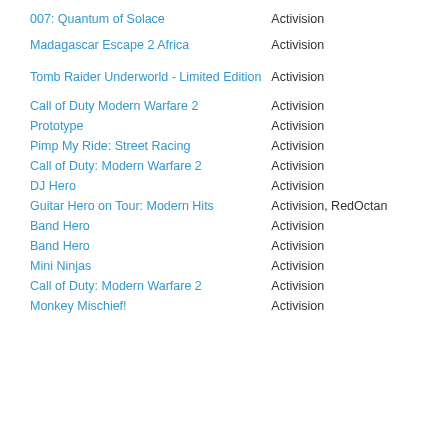| Game | Publisher |
| --- | --- |
| 007: Quantum of Solace | Activision |
| Madagascar Escape 2 Africa | Activision |
| Tomb Raider Underworld - Limited Edition | Activision |
| Call of Duty Modern Warfare 2 | Activision |
| Prototype | Activision |
| Pimp My Ride: Street Racing | Activision |
| Call of Duty: Modern Warfare 2 | Activision |
| DJ Hero | Activision |
| Guitar Hero on Tour: Modern Hits | Activision, RedOctan |
| Band Hero | Activision |
| Band Hero | Activision |
| Mini Ninjas | Activision |
| Call of Duty: Modern Warfare 2 | Activision |
| Monkey Mischief! | Activision |